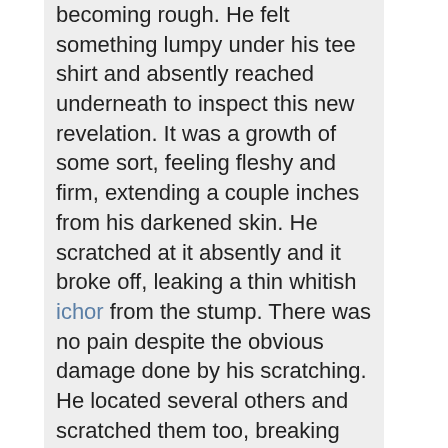becoming rough. He felt something lumpy under his tee shirt and absently reached underneath to inspect this new revelation. It was a growth of some sort, feeling fleshy and firm, extending a couple inches from his darkened skin. He scratched at it absently and it broke off, leaking a thin whitish ichor from the stump. There was no pain despite the obvious damage done by his scratching. He located several others and scratched them too, breaking them off in the process.
He dropped the remote in the floor and tried to retrieve it but failed in the attempt. He almost made it but was